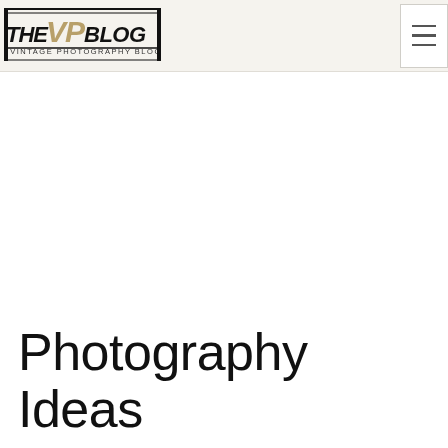THE VP BLOG — VINTAGE PHOTOGRAPHY BLOG
[Figure (logo): THE VP BLOG logo with 'VINTAGE PHOTOGRAPHY BLOG' subtitle in vintage style typography]
Photography Ideas